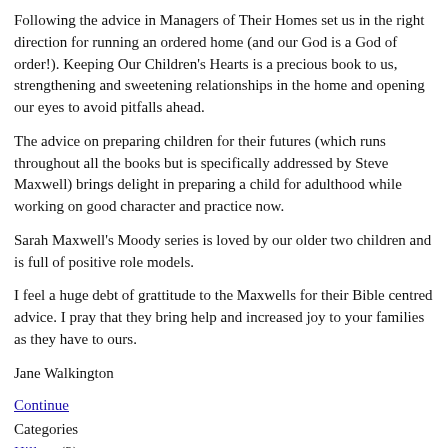Following the advice in Managers of Their Homes set us in the right direction for running an ordered home (and our God is a God of order!). Keeping Our Children's Hearts is a precious book to us, strengthening and sweetening relationships in the home and opening our eyes to avoid pitfalls ahead.
The advice on preparing children for their futures (which runs throughout all the books but is specifically addressed by Steve Maxwell) brings delight in preparing a child for adulthood while working on good character and practice now.
Sarah Maxwell's Moody series is loved by our older two children and is full of positive role models.
I feel a huge debt of grattitude to the Maxwells for their Bible centred advice. I pray that they bring help and increased joy to your families as they have to ours.
Jane Walkington
Continue
Categories
Hilltop (2)
Wulfgar (3)
Managers of Their ... (3)
Moody Family Series (12)